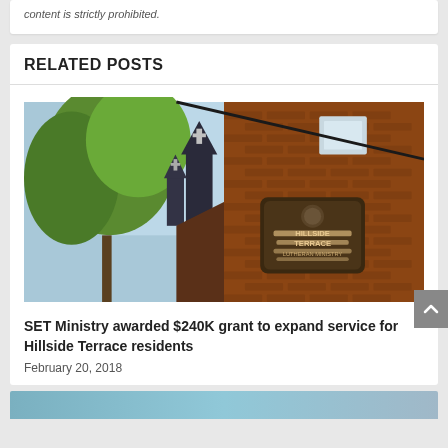content is strictly prohibited.
RELATED POSTS
[Figure (photo): Exterior photo of a brick building with a 'Hillside Terrace' sign mounted on the brick wall, and trees with a church steeple visible in the background against a blue sky.]
SET Ministry awarded $240K grant to expand service for Hillside Terrace residents
February 20, 2018